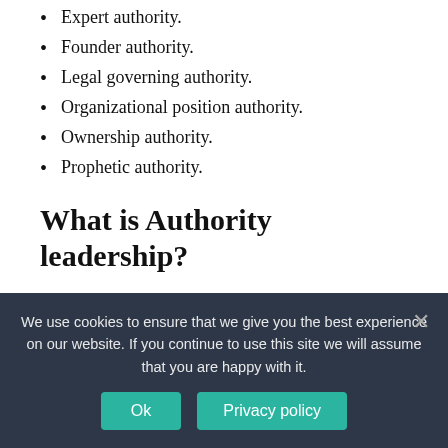Expert authority.
Founder authority.
Legal governing authority.
Organizational position authority.
Ownership authority.
Prophetic authority.
What is Authority leadership?
Leadership is in many ways a balancing act. Leaders also have authority, which is both something that is designated by those higher up and a personal quality based on influence and personal relationships.
Who has more power hr or manager?
We use cookies to ensure that we give you the best experience on our website. If you continue to use this site we will assume that you are happy with it.